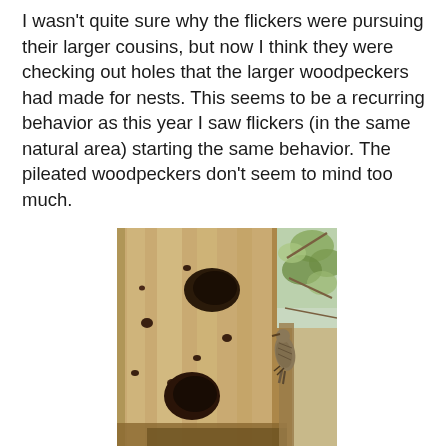I wasn't quite sure why the flickers were pursuing their larger cousins, but now I think they were checking out holes that the larger woodpeckers had made for nests. This seems to be a recurring behavior as this year I saw flickers (in the same natural area) starting the same behavior. The pileated woodpeckers don't seem to mind too much.
[Figure (photo): A woodpecker clinging to the side of a large weathered tree trunk with dark holes/cavities. The tree bark is light tan/beige colored with dark spots and a large dark cavity near the center. The bird is visible on the right side of the trunk. Green foliage and branches are visible in the upper right background.]